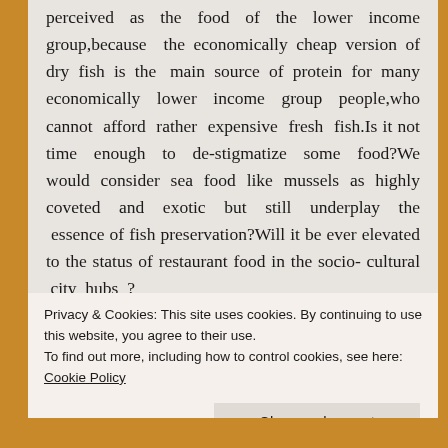perceived as the food of the lower income group,because the economically cheap version of dry fish is the main source of protein for many economically lower income group people,who cannot afford rather expensive fresh fish.Is it not time enough to de-stigmatize some food?We would consider sea food like mussels as highly coveted and exotic but still underplay the essence of fish preservation?Will it be ever elevated to the status of restaurant food in the socio- cultural city hubs ?
Privacy & Cookies: This site uses cookies. By continuing to use this website, you agree to their use.
To find out more, including how to control cookies, see here: Cookie Policy
Close and accept